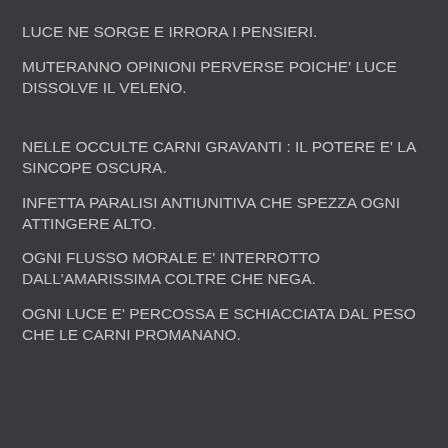LUCE NE SORGE E IRRORA I PENSIERI.
MUTERANNO OPINIONI PERVERSE POICHE' LUCE DISSOLVE IL VELENO.
NELLE OCCULTE CARNI GRAVANTI : IL POTERE E' LA SINCOPE OSCURA.
INFETTA PARALISI ANTIUNITIVA CHE SPEZZA OGNI ATTINGERE ALTO.
OGNI FLUSSO MORALE E' INTERROTTO DALL'AMARISSIMA COLTRE CHE NEGA.
OGNI LUCE E' PERCOSSA E SCHIACCIATA DAL PESO CHE LE CARNI PROMANANO.